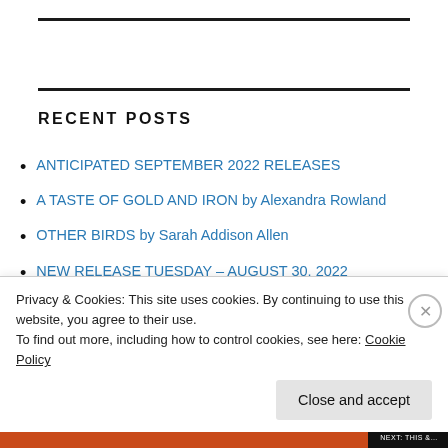RECENT POSTS
ANTICIPATED SEPTEMBER 2022 RELEASES
A TASTE OF GOLD AND IRON by Alexandra Rowland
OTHER BIRDS by Sarah Addison Allen
NEW RELEASE TUESDAY – AUGUST 30, 2022
Privacy & Cookies: This site uses cookies. By continuing to use this website, you agree to their use. To find out more, including how to control cookies, see here: Cookie Policy